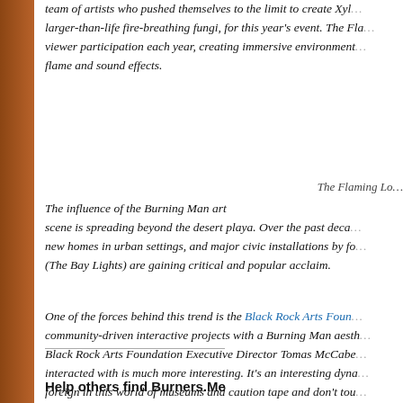team of artists who pushed themselves to the limit to create Xyl... larger-than-life fire-breathing fungi, for this year's event. The Fla... viewer participation each year, creating immersive environment... flame and sound effects.
The Flaming Lo...
The influence of the Burning Man art scene is spreading beyond the desert playa. Over the past deca... new homes in urban settings, and major civic installations by fo... (The Bay Lights) are gaining critical and popular acclaim.
One of the forces behind this trend is the Black Rock Arts Foun... community-driven interactive projects with a Burning Man aesth... Black Rock Arts Foundation Executive Director Tomas McCabe... interacted with is much more interesting. It's an interesting dyna... foreign in this world of museums and caution tape and don't tou... able to be invited to interact with something. So we wanted to b...
Help others find Burners.Me